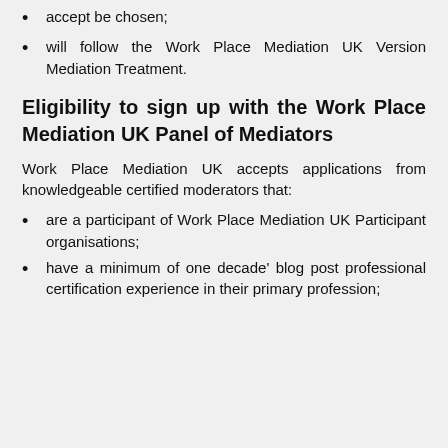accept be chosen;
will follow the Work Place Mediation UK Version Mediation Treatment.
Eligibility to sign up with the Work Place Mediation UK Panel of Mediators
Work Place Mediation UK accepts applications from knowledgeable certified moderators that:
are a participant of Work Place Mediation UK Participant organisations;
have a minimum of one decade' blog post professional certification experience in their primary profession;